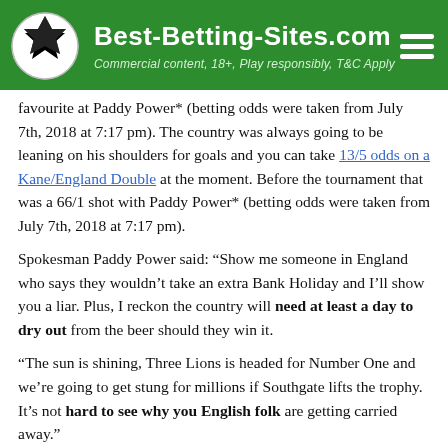Best-Betting-Sites.com — Commercial content, 18+, Play responsibly, T&C Apply
favourite at Paddy Power* (betting odds were taken from July 7th, 2018 at 7:17 pm). The country was always going to be leaning on his shoulders for goals and you can take 13/5 odds on a Kane/England Double at the moment. Before the tournament that was a 66/1 shot with Paddy Power* (betting odds were taken from July 7th, 2018 at 7:17 pm).
Spokesman Paddy Power said: “Show me someone in England who says they wouldn’t take an extra Bank Holiday and I’ll show you a liar. Plus, I reckon the country will need at least a day to dry out from the beer should they win it.
“The sun is shining, Three Lions is headed for Number One and we’re going to get stung for millions if Southgate lifts the trophy. It’s not hard to see why you English folk are getting carried away.”
With Skinner & Baddiel’s “Three Lions” song which has pretty much been adopted as England’s anthem receiving 450,000 plays on the day England met Colombia in the quarter finals, that is odds-on at 1/2 to hit Number One in the UK in the month of July.